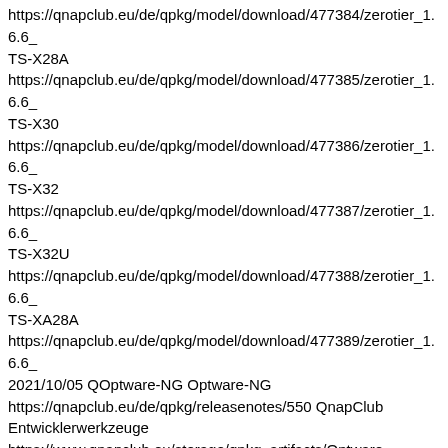https://qnapclub.eu/de/qpkg/model/download/477384/zerotier_1.6.6_ TS-X28A
https://qnapclub.eu/de/qpkg/model/download/477385/zerotier_1.6.6_ TS-X30
https://qnapclub.eu/de/qpkg/model/download/477386/zerotier_1.6.6_ TS-X32
https://qnapclub.eu/de/qpkg/model/download/477387/zerotier_1.6.6_ TS-X32U
https://qnapclub.eu/de/qpkg/model/download/477388/zerotier_1.6.6_ TS-XA28A
https://qnapclub.eu/de/qpkg/model/download/477389/zerotier_1.6.6_ 2021/10/05 QOptware-NG Optware-NG
https://qnapclub.eu/de/qpkg/releasenotes/550 QnapClub Entwicklerwerkzeuge
https://www.qnapclub.eu/storage/qpkg_artifacts/Optware-NG_2.05/qpkg_icon_80.gif 4.2.0 2.05 TS-ARM-X19
https://qnapclub.eu/de/qpkg/model/download/462647/Optware-NG_2.05.qpkg TS-NASX86
https://qnapclub.eu/de/qpkg/model/download/462649/Optware-NG_2.05.qpkg TS-ARM-X19
https://qnapclub.eu/de/qpkg/model/download/462658/Optware-NG_2.05.qpkg TS-NASX86
https://qnapclub.eu/de/qpkg/model/download/462660/Optware-NG_2.05.qpkg TS-X41
https://qnapclub.eu/de/qpkg/model/download/462666/Optware-NG_2.05.qpkg 2018/02/15 Mystic BBS MysticBBS